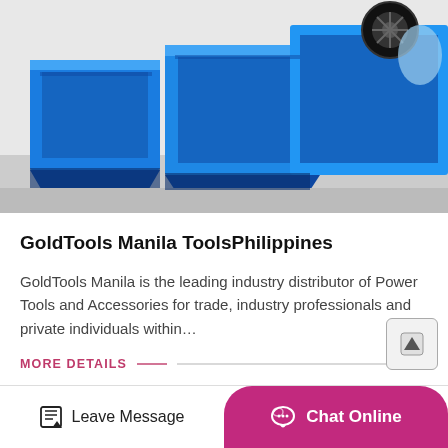[Figure (photo): Blue industrial machinery (power tools/mining equipment) in a warehouse or factory setting. Large blue metal containers/hoppers visible.]
GoldTools Manila ToolsPhilippines
GoldTools Manila is the leading industry distributor of Power Tools and Accessories for trade, industry professionals and private individuals within…
MORE DETAILS
[Figure (photo): Partial image of trees/foliage at the bottom of the page, cropped.]
Leave Message   Chat Online